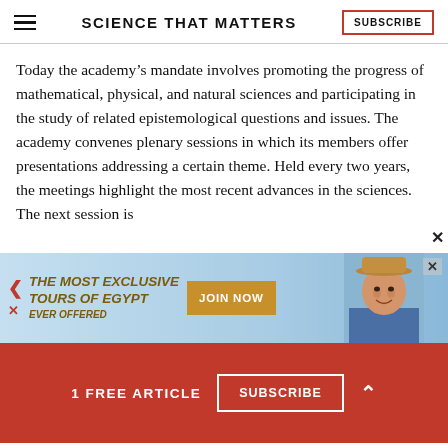SCIENCE THAT MATTERS | SUBSCRIBE
Today the academy's mandate involves promoting the progress of mathematical, physical, and natural sciences and participating in the study of related epistemological questions and issues. The academy convenes plenary sessions in which its members offer presentations addressing a certain theme. Held every two years, the meetings highlight the most recent advances in the sciences. The next session is
[Figure (infographic): Advertisement banner: THE MOST EXCLUSIVE TOURS OF EGYPT EVER OFFERED with JOIN NOW button and image of man in hat]
1 FREE ARTICLE  SUBSCRIBE  ^